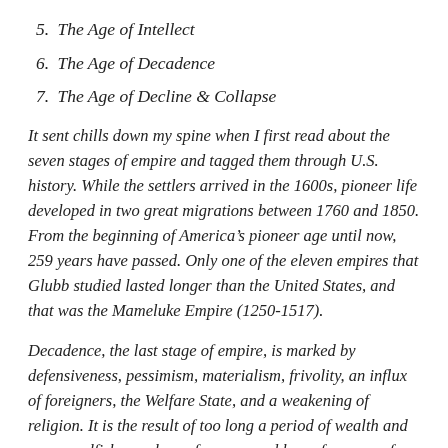5. The Age of Intellect
6. The Age of Decadence
7. The Age of Decline & Collapse
It sent chills down my spine when I first read about the seven stages of empire and tagged them through U.S. history. While the settlers arrived in the 1600s, pioneer life developed in two great migrations between 1760 and 1850. From the beginning of America’s pioneer age until now, 259 years have passed. Only one of the eleven empires that Glubb studied lasted longer than the United States, and that was the Mameluke Empire (1250-1517).
Decadence, the last stage of empire, is marked by defensiveness, pessimism, materialism, frivolity, an influx of foreigners, the Welfare State, and a weakening of religion. It is the result of too long a period of wealth and power, selfishness, love of money, and loss of a sense of duty. The U.S. became an empire by lending to the